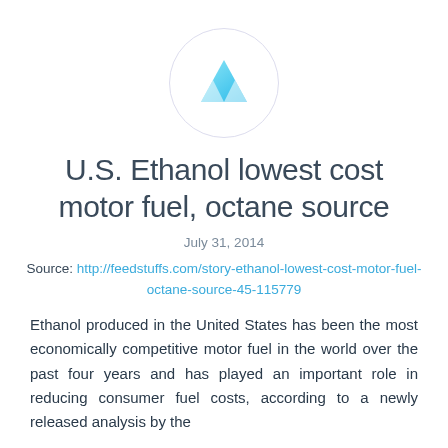[Figure (logo): Circular logo with a blue geometric downward-pointing triangle/crystal icon on white background with light grey border]
U.S. Ethanol lowest cost motor fuel, octane source
July 31, 2014
Source: http://feedstuffs.com/story-ethanol-lowest-cost-motor-fuel-octane-source-45-115779
Ethanol produced in the United States has been the most economically competitive motor fuel in the world over the past four years and has played an important role in reducing consumer fuel costs, according to a newly released analysis by the